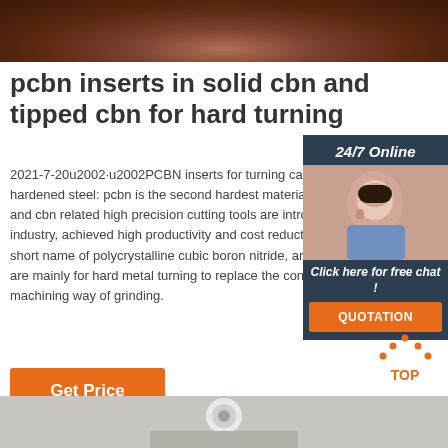[Figure (photo): Close-up photo of dark brown/reddish metal surface with hardware, top of page]
pcbn inserts in solid cbn and tipped cbn for hard turning
2021-7-20u2002·u2002PCBN inserts for turning cast iron and hardened steel: pcbn is the second hardest material in the world, and cbn related high precision cutting tools are introduced to industry, achieved high productivity and cost reductions. pcbn is the short name of polycrystalline cubic boron nitride, and pcbn inserts are mainly for hard metal turning to replace the conventional machining way of grinding.
[Figure (photo): 24/7 Online customer service widget with woman wearing headset]
[Figure (other): Get Price orange button]
[Figure (other): TOP arrow icon]
[Figure (photo): Close-up photo of metal machining/grinding at bottom of page]